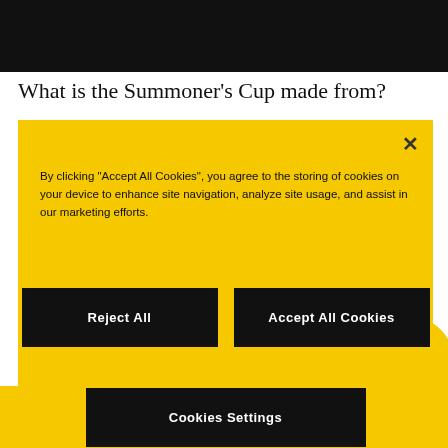[Figure (photo): Dark top image bar (photo area, mostly black)]
What is the Summoner's Cup made from?
Presented annually, the Summoner's Cup is the ultimate symbol of
By clicking "Accept All Cookies", you agree to the storing of cookies on your device to enhance site navigation, analyze site usage, and assist in our marketing efforts.
Reject All
Accept All Cookies
Cookies Settings
Riot Games to produce trophy that reflects the
The Details
View Our Gallery